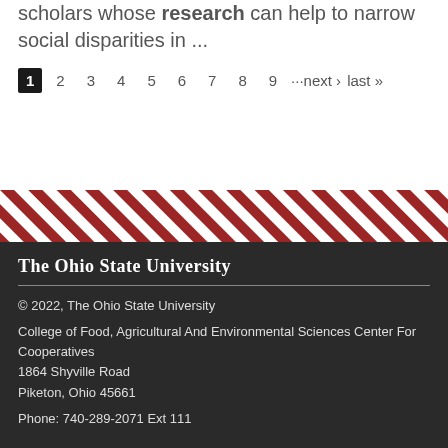scholars whose research can help to narrow social disparities in ...
1 2 3 4 5 6 7 8 9 ···next › last »
[Figure (other): Diagonal red and white stripe decorative band]
The Ohio State University
© 2022, The Ohio State University
College of Food, Agricultural And Environmental Sciences Center For Cooperatives
1864 Shyville Road
Piketon, Ohio 45661
Phone: 740-289-2071 Ext 111